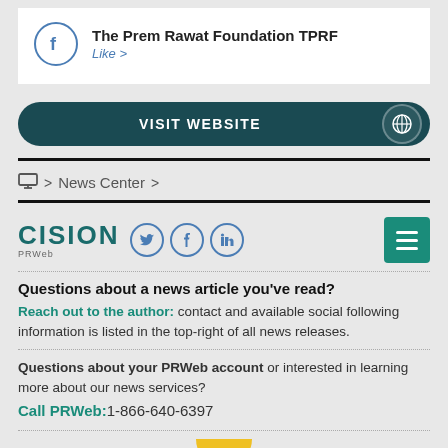[Figure (screenshot): Facebook social card for The Prem Rawat Foundation TPRF with Like button]
[Figure (screenshot): Visit Website button with globe icon]
> News Center >
[Figure (logo): CISION PRWeb logo with Twitter, Facebook, LinkedIn social icons and hamburger menu]
Questions about a news article you've read?
Reach out to the author: contact and available social following information is listed in the top-right of all news releases.
Questions about your PRWeb account or interested in learning more about our news services?
Call PRWeb:1-866-640-6397